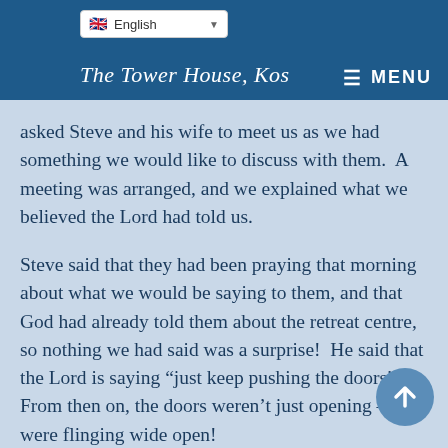The Tower House, Kos — MENU
asked Steve and his wife to meet us as we had something we would like to discuss with them.  A meeting was arranged, and we explained what we believed the Lord had told us.
Steve said that they had been praying that morning about what we would be saying to them, and that God had already told them about the retreat centre, so nothing we had said was a surprise!  He said that the Lord is saying “just keep pushing the doors”. From then on, the doors weren’t just opening – they were flinging wide open!
The following week, both Roger and I were going